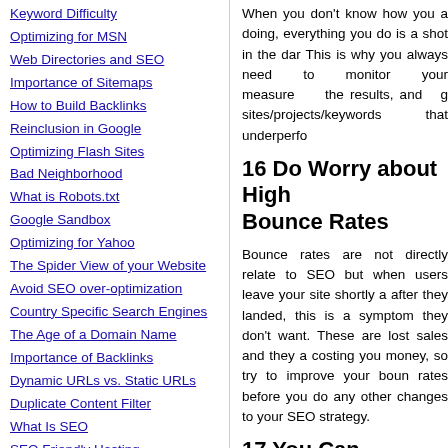Keyword Difficulty
Optimizing for MSN
Web Directories and SEO
Importance of Sitemaps
How to Build Backlinks
Reinclusion in Google
Optimizing Flash Sites
Bad Neighborhood
What is Robots.txt
Google Sandbox
Optimizing for Yahoo
The Spider View of your Website
Avoid SEO over-optimization
Country Specific Search Engines
The Age of a Domain Name
Importance of Backlinks
Dynamic URLs vs. Static URLs
Duplicate Content Filter
What Is SEO
SEO Friendly Hosting
When you don't know how you are doing, everything you do is a shot in the dark. This is why you always need to monitor your activities, measure the results, and give up on sites/projects/keywords that underperfo...
16 Do Worry about High Bounce Rates
Bounce rates are not directly related to SEO but when users leave your site shortly after they landed, this is a symptom they don't find what they want. These are lost sales and they are costing you money, so try to improve your bounce rates before you do any other changes to your SEO strategy.
17 You Can Achieve More with Long Tail Keywords
Long tail keywords are sweet because there is substantially less competition for them and rankings are easier to achieve. Maybe...